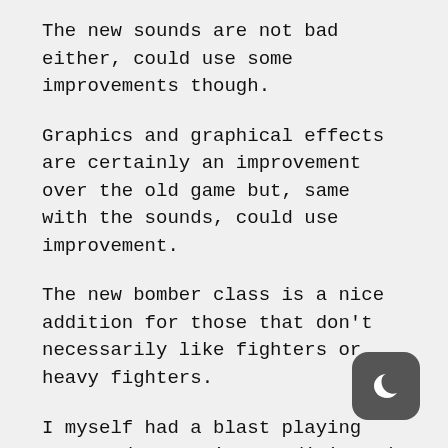The new sounds are not bad either, could use some improvements though.
Graphics and graphical effects are certainly an improvement over the old game but, same with the sounds, could use improvement.
The new bomber class is a nice addition for those that don't necessarily like fighters or heavy fighters.
I myself had a blast playing even under testing conditions ( almost no players online, small teams and a lot of AI.
If WG continues this way i can certainly see W... (continues)